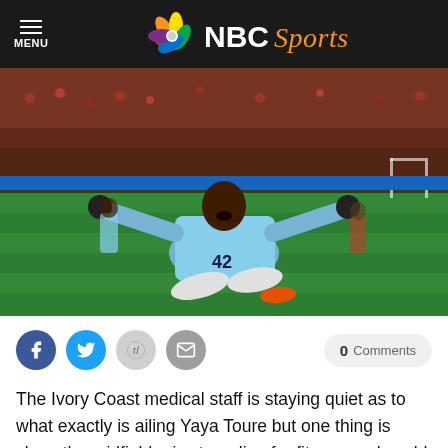NBC Sports
[Figure (photo): Soccer player wearing Manchester City light blue jersey number 42, celebrating a goal by sliding on his knees on the pitch, mouth open, at a stadium with crowd in background.]
The Ivory Coast medical staff is staying quiet as to what exactly is ailing Yaya Toure but one thing is clear, the midfielder is struggling for fitness and could be out of his
0 Comments